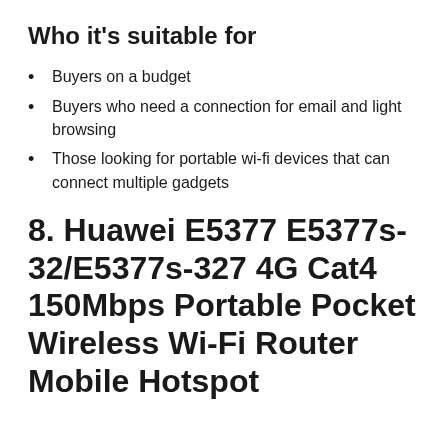Who it's suitable for
Buyers on a budget
Buyers who need a connection for email and light browsing
Those looking for portable wi-fi devices that can connect multiple gadgets
8. Huawei E5377 E5377s-32/E5377s-327 4G Cat4 150Mbps Portable Pocket Wireless Wi-Fi Router Mobile Hotspot